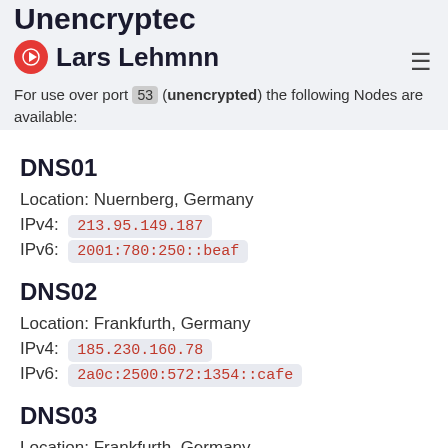Lars Lehmnn
For use over port 53 (unencrypted) the following Nodes are available:
DNS01
Location: Nuernberg, Germany
IPv4:  213.95.149.187
IPv6:  2001:780:250::beaf
DNS02
Location: Frankfurth, Germany
IPv4:  185.230.160.78
IPv6:  2a0c:2500:572:1354::cafe
DNS03
Location: Frankfurth, Germany